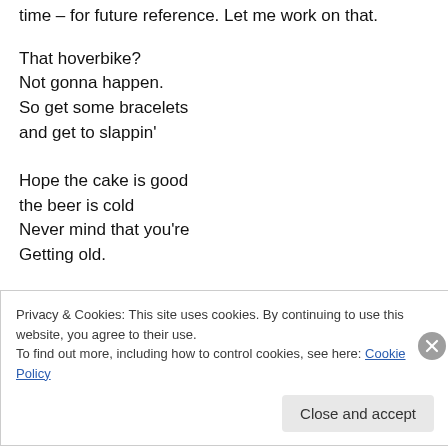time – for future reference. Let me work on that.
That hoverbike?
Not gonna happen.
So get some bracelets
and get to slappin'
Hope the cake is good
the beer is cold
Never mind that you're
Getting old.
Privacy & Cookies: This site uses cookies. By continuing to use this website, you agree to their use.
To find out more, including how to control cookies, see here: Cookie Policy